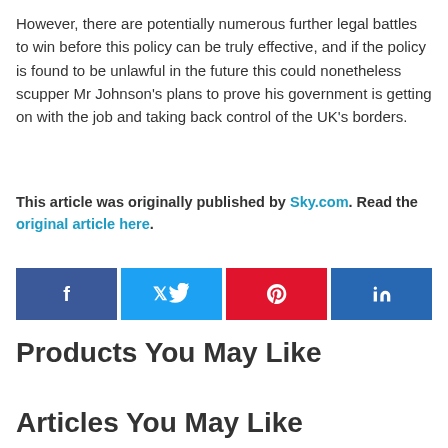However, there are potentially numerous further legal battles to win before this policy can be truly effective, and if the policy is found to be unlawful in the future this could nonetheless scupper Mr Johnson's plans to prove his government is getting on with the job and taking back control of the UK's borders.
This article was originally published by Sky.com. Read the original article here.
[Figure (other): Four social share buttons: Facebook (dark blue, f icon), Twitter (light blue, bird icon), Pinterest (red, p icon), LinkedIn (dark blue, in icon)]
Products You May Like
Articles You May Like